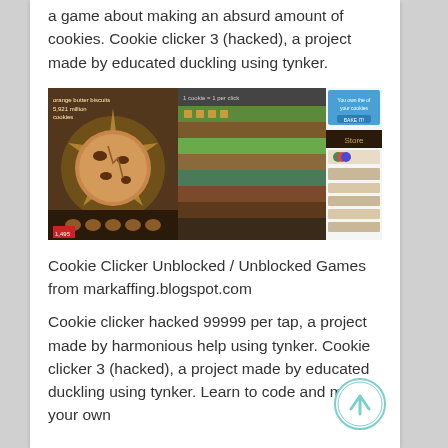a game about making an absurd amount of cookies. Cookie clicker 3 (hacked), a project made by educated duckling using tynker.
[Figure (screenshot): Screenshot of Cookie Clicker game showing cookie clicking interface with cookie image on left, gameplay area with colorful rows in middle, and store/stats panel on right]
Cookie Clicker Unblocked / Unblocked Games from markaffing.blogspot.com
Cookie clicker hacked 99999 per tap, a project made by harmonious help using tynker. Cookie clicker 3 (hacked), a project made by educated duckling using tynker. Learn to code and make your own